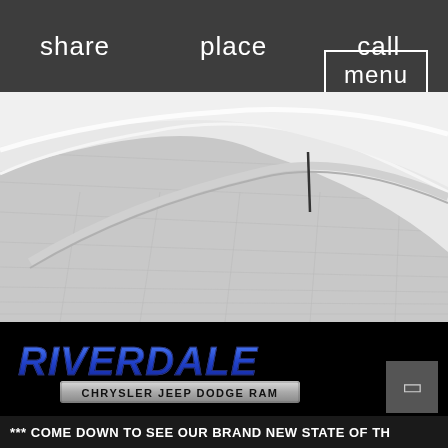share   place   call
menu
[Figure (photo): Close-up photo of the curved edge of a white vehicle, showing the roofline or hood curve against a neutral background]
[Figure (logo): Riverdale Chrysler Jeep Dodge Ram dealership logo on black background]
[Figure (other): Small rectangular icon in bottom right corner]
*** COME DOWN TO SEE OUR BRAND NEW STATE OF TH